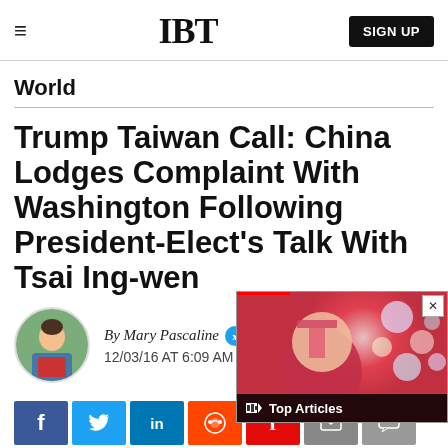IBT  SIGN UP
World
Trump Taiwan Call: China Lodges Complaint With Washington Following President-Elect's Talk With Tsai Ing-wen
By Mary Pascaline  @  12/03/16 AT 6:09 AM
[Figure (screenshot): Video overlay thumbnail showing Top Articles label over a stylized portrait image (David Bowie Ziggy Stardust style) with colorful orbs, with a red progress bar and X close button]
[Figure (infographic): Social share bar with Facebook (f), Twitter (bird), LinkedIn (in), Reddit, Flipboard (f), email, and comment buttons]